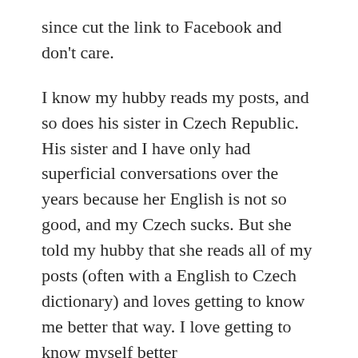since cut the link to Facebook and don't care.

I know my hubby reads my posts, and so does his sister in Czech Republic. His sister and I have only had superficial conversations over the years because her English is not so good, and my Czech sucks. But she told my hubby that she reads all of my posts (often with a English to Czech dictionary) and loves getting to know me better that way. I love getting to know myself better